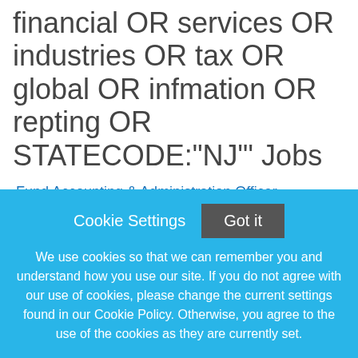financial OR services OR industries OR tax OR global OR infmation OR repting OR STATECODE:"NJ"' Jobs
Fund Accounting & Administration,Officer
Clifton, New Jersey
State Street Corporation
4 Weeks Ago
Data Analyst
Cookie Settings  Got it
We use cookies so that we can remember you and understand how you use our site. If you do not agree with our use of cookies, please change the current settings found in our Cookie Policy. Otherwise, you agree to the use of the cookies as they are currently set.